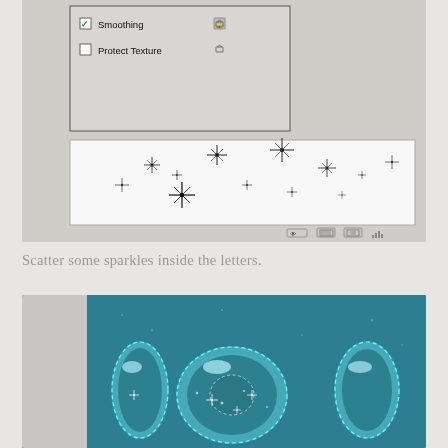[Figure (screenshot): Photoshop brush settings panel showing checkboxes for Smoothing and Protect Texture options, with a preview strip below showing scattered sparkle brush strokes on white background, and toolbar icons at the bottom.]
Scatter some sparkles inside the letters.
[Figure (photo): Photograph showing 3D glossy teal/blue bubble letters with dashed white outlines and small sparkle/star highlights scattered inside and around the letters, on a blue-gray textured background.]